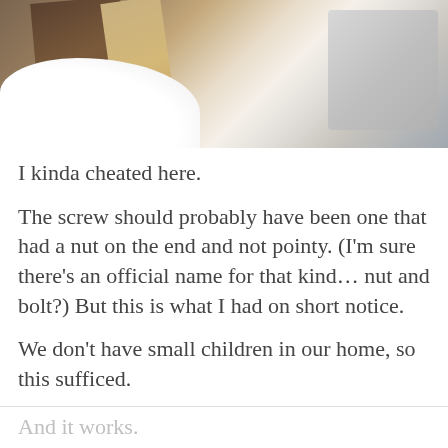[Figure (photo): A blurry close-up photo showing wooden planks/boards, a white rounded object, and a gray container in the background. A 'FUNKY JUNK' watermark is visible in the lower left.]
I kinda cheated here.
The screw should probably have been one that had a nut on the end and not pointy. (I'm sure there's an official name for that kind… nut and bolt?) But this is what I had on short notice.
We don't have small children in our home, so this sufficed.
And it works.